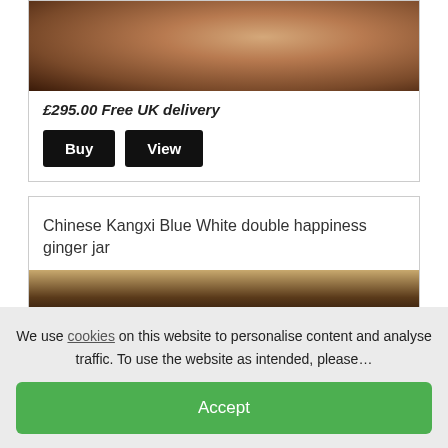[Figure (photo): Product image of an antique item, partially visible at top of card]
£295.00 Free UK delivery
Buy  View
Chinese Kangxi Blue White double happiness ginger jar
[Figure (photo): Bottom portion of product image for Chinese Kangxi Blue White double happiness ginger jar]
We use cookies on this website to personalise content and analyse traffic. To use the website as intended, please...
Accept